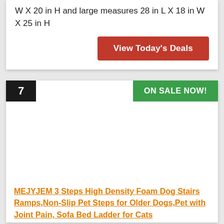W X 20 in H and large measures 28 in L X 18 in W X 25 in H
View Today's Deals
7
ON SALE NOW!
[Figure (photo): Product image area (white/blank)]
MEJYJEM 3 Steps High Density Foam Dog Stairs Ramps,Non-Slip Pet Steps for Older Dogs,Pet with Joint Pain, Sofa Bed Ladder for Cats